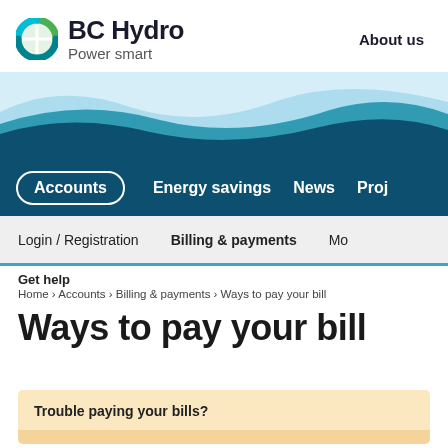[Figure (logo): BC Hydro Power smart logo with green and teal circular icon]
About us
[Figure (illustration): Decorative wave banner in light blue and dark teal colors]
Accounts  Energy savings  News  Proj
Login / Registration  Billing & payments  Mo
Get help
Home › Accounts › Billing & payments › Ways to pay your bill
Ways to pay your bill
Trouble paying your bills?